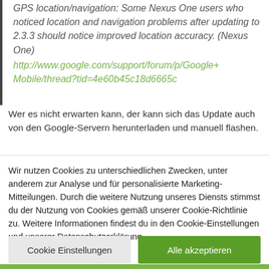GPS location/navigation: Some Nexus One users who noticed location and navigation problems after updating to 2.3.3 should notice improved location accuracy. (Nexus One) http://www.google.com/support/forum/p/Google+Mobile/thread?tid=4e60b45c18d6665c
Wer es nicht erwarten kann, der kann sich das Update auch von den Google-Servern herunterladen und manuell flashen.
Wir nutzen Cookies zu unterschiedlichen Zwecken, unter anderem zur Analyse und für personalisierte Marketing-Mitteilungen. Durch die weitere Nutzung unseres Diensts stimmst du der Nutzung von Cookies gemäß unserer Cookie-Richtlinie zu. Weitere Informationen findest du in den Cookie-Einstellungen und unserer Datenschutzerklärung.
Cookie Einstellungen
Alle akzeptieren